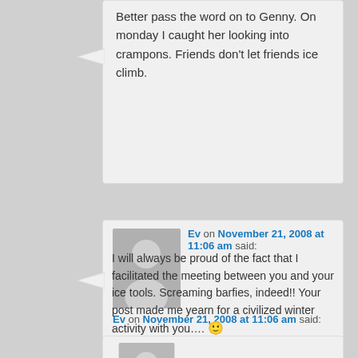Better pass the word on to Genny. On monday I caught her looking into crampons. Friends don't let friends ice climb.
[Figure (illustration): Generic user avatar placeholder (gray silhouette of a person)]
Ev on November 21, 2008 at 11:06 am said:
I will always be proud of the fact that I facilitated the meeting between you and your ice tools. Screaming barfies, indeed!! Your post made me yearn for a civilized winter activity with you…. 🙂
[Figure (illustration): Generic user avatar placeholder (gray silhouette of a person), partially visible]